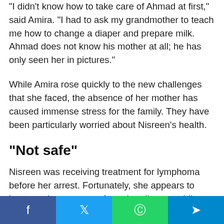“I didn’t know how to take care of Ahmad at first,” said Amira. “I had to ask my grandmother to teach me how to change a diaper and prepare milk. Ahmad does not know his mother at all; he has only seen her in pictures.”
While Amira rose quickly to the new challenges that she faced, the absence of her mother has caused immense stress for the family. They have been particularly worried about Nisreen’s health.
“Not safe”
Nisreen was receiving treatment for lymphoma before her arrest. Fortunately, she appears to have made a recovery from that disease while
f  t  Ⓖ  ➤